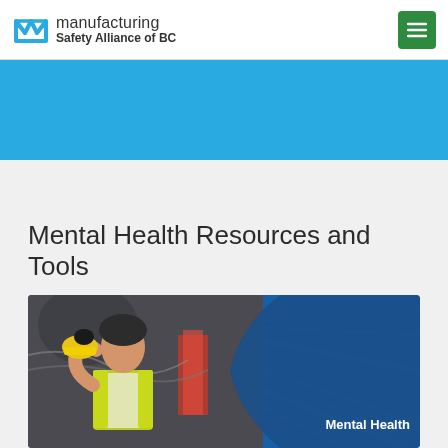manufacturing Safety Alliance of BC
Mental Health Resources and Tools
[Figure (screenshot): Mental health resource card showing a woman in a yellow safety vest holding a hard hat in an industrial setting, with blue background and 'Mental Health' text overlay on the right side]